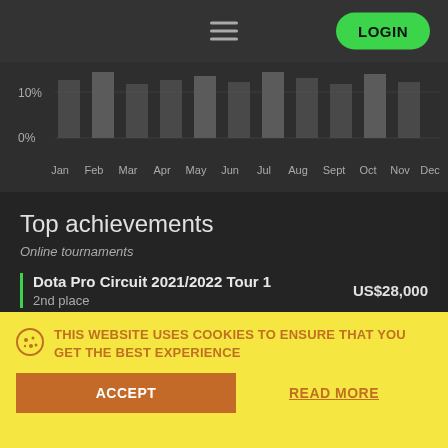LOGIN
[Figure (bar-chart): Partially visible bar chart with y-axis labels 10% and 0% and x-axis months Jan through Dec]
Top achievements
Online tournaments
Dota Pro Circuit 2021/2022 Tour 1 — US$28,000 — 2nd place
Dota Pro Circuit 2021: Season 2 — US$25,000 — 5th place
THIS WEBSITE USES COOKIES TO ENSURE THAT YOU GET THE BEST EXPERIENCE
ACCEPT
READ MORE